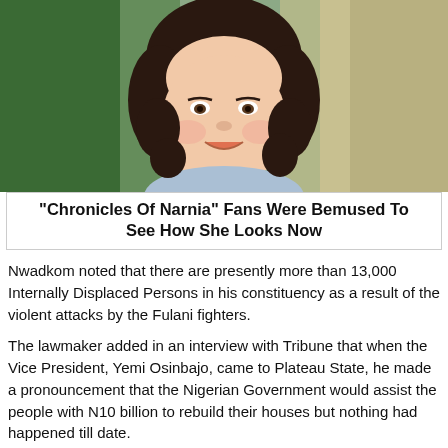[Figure (photo): Portrait photo of a young girl with curly dark hair and a light blue dress, smiling, with a green and beige blurred background]
"Chronicles Of Narnia" Fans Were Bemused To See How She Looks Now
Nwadkom noted that there are presently more than 13,000 Internally Displaced Persons in his constituency as a result of the violent attacks by the Fulani fighters.
The lawmaker added in an interview with Tribune that when the Vice President, Yemi Osinbajo, came to Plateau State, he made a pronouncement that the Nigerian Government would assist the people with N10 billion to rebuild their houses but nothing had happened till date.